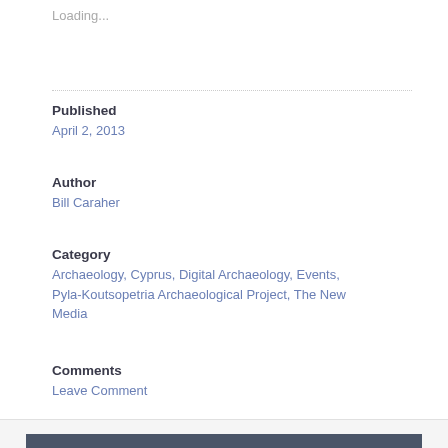Loading...
Published
April 2, 2013
Author
Bill Caraher
Category
Archaeology, Cyprus, Digital Archaeology, Events, Pyla-Koutsopetria Archaeological Project, The New Media
Comments
Leave Comment